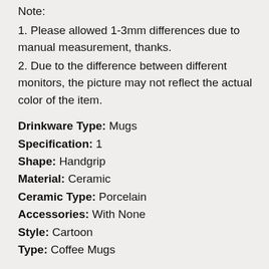Note:
1. Please allowed 1-3mm differences due to manual measurement, thanks.
2. Due to the difference between different monitors, the picture may not reflect the actual color of the item.
Drinkware Type: Mugs
Specification: 1
Shape: Handgrip
Material: Ceramic
Ceramic Type: Porcelain
Accessories: With None
Style: Cartoon
Type: Coffee Mugs